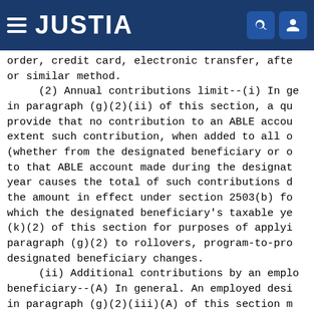JUSTIA
order, credit card, electronic transfer, after or similar method.
    (2) Annual contributions limit--(i) In general. Except as provided in paragraph (g)(2)(ii) of this section, a qualified ABLE program must provide that no contribution to an ABLE account will be accepted to the extent such contribution, when added to all other contributions (whether from the designated beneficiary or others) to that ABLE account made during the designated beneficiary's taxable year causes the total of such contributions during the taxable year to exceed the amount in effect under section 2503(b) for the calendar year in which the designated beneficiary's taxable year begins. See paragraph (k)(2) of this section for purposes of applying the limitation of paragraph (g)(2) to rollovers, program-to-program transfers, and designated beneficiary changes.
    (ii) Additional contributions by an employed designated beneficiary--(A) In general. An employed designated beneficiary described in paragraph (g)(2)(iii)(A) of this section may